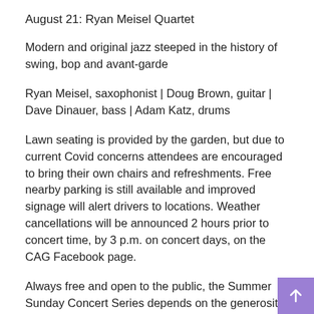August 21: Ryan Meisel Quartet
Modern and original jazz steeped in the history of swing, bop and avant-garde
Ryan Meisel, saxophonist | Doug Brown, guitar | Dave Dinauer, bass | Adam Katz, drums
Lawn seating is provided by the garden, but due to current Covid concerns attendees are encouraged to bring their own chairs and refreshments. Free nearby parking is still available and improved signage will alert drivers to locations. Weather cancellations will be announced 2 hours prior to concert time, by 3 p.m. on concert days, on the CAG Facebook page.
Always free and open to the public, the Summer Sunday Concert Series depends on the generosity of our sponsors and attendees. Gifts of free will are gratefully accepted at events. And this year, artist sponsorships, starting at $150, will be available. Contact us for more information if you would like to